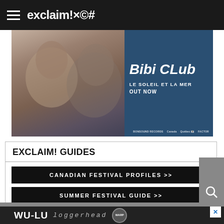exclaim!×©#
[Figure (photo): Bibi Club promotional banner for album 'Le Soleil et la Mer' — shows two people (a woman and a man) on the left side and teal/blue panel on right with stylized 'Bibi CLub' logo, 'LE SOLEIL ET LA MER' and 'OUT NOW' text, with sponsor logos at bottom]
EXCLAIM! GUIDES
CANADIAN FESTIVAL PROFILES >>
SUMMER FESTIVAL GUIDE >>
[Figure (photo): Wu-Lu Loggerhead album advertisement banner with white text on black background, showing 'WU-LU loggerhead' with Warp Records badge, and an X close button]